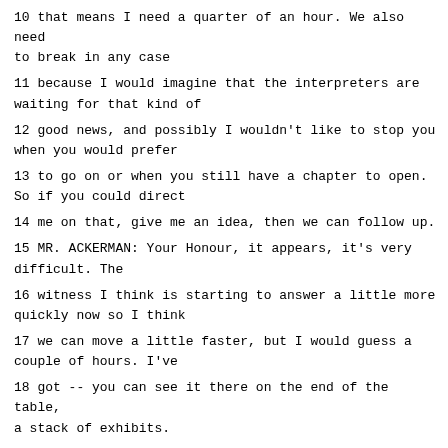10 that means I need a quarter of an hour. We also need to break in any case
11 because I would imagine that the interpreters are waiting for that kind of
12 good news, and possibly I wouldn't like to stop you when you would prefer
13 to go on or when you still have a chapter to open. So if you could direct
14 me on that, give me an idea, then we can follow up.
15 MR. ACKERMAN: Your Honour, it appears, it's very difficult. The
16 witness I think is starting to answer a little more quickly now so I think
17 we can move a little faster, but I would guess a couple of hours. I've
18 got -- you can see it there on the end of the table, a stack of exhibits.
19 I don't expect to have the witness discuss every one of those exhibits
20 but, most of them, I want to bring his attention to statements that are